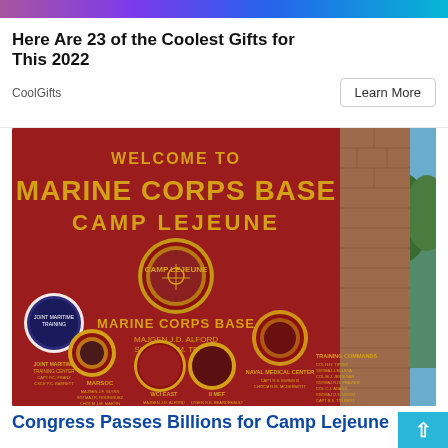[Figure (other): Colorful gradient top banner strip]
Here Are 23 of the Coolest Gifts for This 2022
CoolGifts
Learn More
[Figure (photo): Photo of the Welcome to Marine Corps Base Camp Lejeune entrance sign — a large red sign with gold lettering showing 'WELCOME TO MARINE CORPS BASE CAMP LEJEUNE' with military unit emblems and personnel names including MAJGEN J.D. ALFORD, SGTMAJ R.M. TELLEZ, and listings for JOINT MARITIME TRAINING CENTER, MARSOC, WCI EAST, II MEF, NAVAL MEDICAL CENTER, TRAINING COMMANDS. Sign is flanked by a brick pillar on the right and trees in background.]
Congress Passes Billions for Camp Lejeune Fami